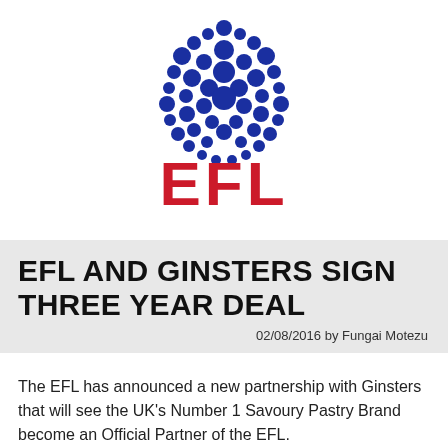[Figure (logo): EFL (English Football League) logo — circle of blue dots of varying sizes arranged in a circular pattern above bold red letters 'EFL']
EFL AND GINSTERS SIGN THREE YEAR DEAL
02/08/2016 by Fungai Motezu
The EFL has announced a new partnership with Ginsters that will see the UK's Number 1 Savoury Pastry Brand become an Official Partner of the EFL.